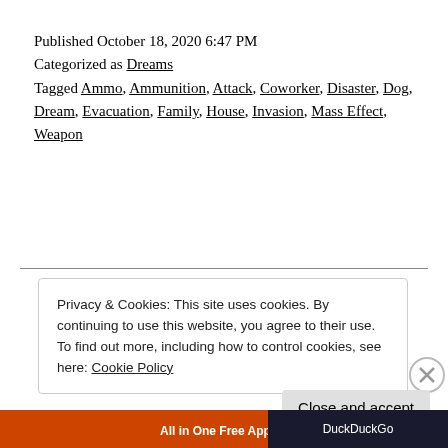Published October 18, 2020 6:47 PM
Categorized as Dreams
Tagged Ammo, Ammunition, Attack, Coworker, Disaster, Dog, Dream, Evacuation, Family, House, Invasion, Mass Effect, Weapon
Privacy & Cookies: This site uses cookies. By continuing to use this website, you agree to their use.
To find out more, including how to control cookies, see here: Cookie Policy
Close and accept